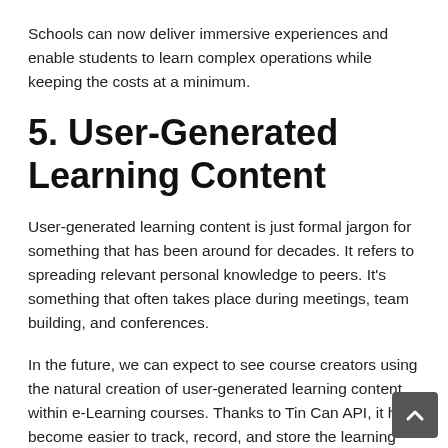Schools can now deliver immersive experiences and enable students to learn complex operations while keeping the costs at a minimum.
5. User-Generated Learning Content
User-generated learning content is just formal jargon for something that has been around for decades. It refers to spreading relevant personal knowledge to peers. It's something that often takes place during meetings, team building, and conferences.
In the future, we can expect to see course creators using the natural creation of user-generated learning content within e-Learning courses. Thanks to Tin Can API, it has become easier to track, record, and store the learning